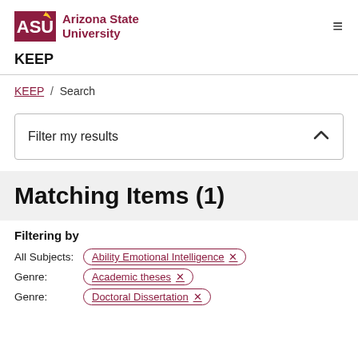ASU Arizona State University KEEP
KEEP / Search
Filter my results
Matching Items (1)
Filtering by
All Subjects: Ability Emotional Intelligence ✕
Genre: Academic theses ✕
Genre: Doctoral Dissertation ✕